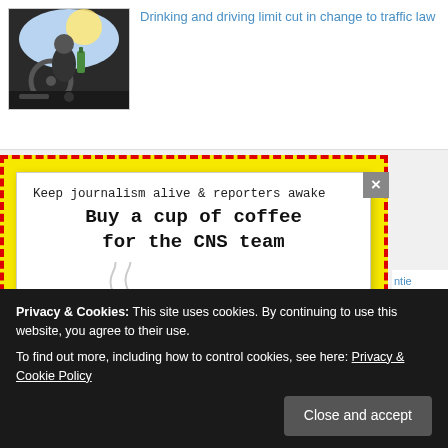[Figure (photo): Photo of a person drinking while driving, seen through windshield]
Drinking and driving limit cut in change to traffic law
[Figure (illustration): Yellow dashed-border popup with white inner box. Headline: Keep journalism alive & reporters awake. Buy a cup of coffee for the CNS team. Illustration of a blue steam coffee cup.]
ntie burglary Cayman Planning Authority navirus corruption facility Cruise Port drug
Privacy & Cookies: This site uses cookies. By continuing to use this website, you agree to their use.
To find out more, including how to control cookies, see here: Privacy & Cookie Policy
Close and accept